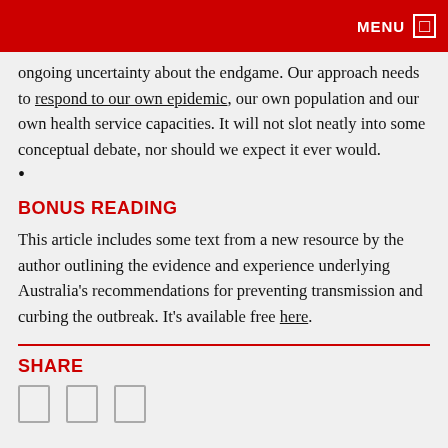MENU
ongoing uncertainty about the endgame. Our approach needs to respond to our own epidemic, our own population and our own health service capacities. It will not slot neatly into some conceptual debate, nor should we expect it ever would.
•
BONUS READING
This article includes some text from a new resource by the author outlining the evidence and experience underlying Australia's recommendations for preventing transmission and curbing the outbreak. It's available free here.
SHARE